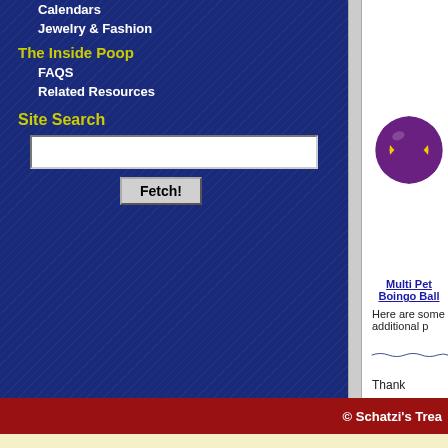Calendars
Jewelry & Fashion
The Inside Poop
FAQS
Related Resources
Site Search
[Figure (other): Search input box and Fetch! button]
[Figure (photo): Multi Pet Boingo Ball - purple and yellow ball toy]
Multi Pet Boingo Ball
Here are some additional p
[Figure (illustration): Decorative wavy dark blue line divider]
Thank
© Schatzi's Trea